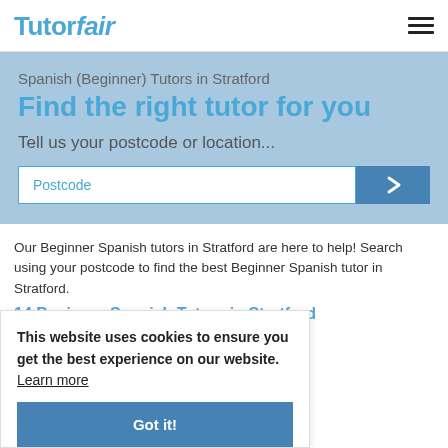TutorFair
Spanish (Beginner) Tutors in Stratford
Find the right tutor for you
Tell us your postcode or location...
Our Beginner Spanish tutors in Stratford are here to help! Search using your postcode to find the best Beginner Spanish tutor in Stratford.
14 Beginner Spanish Tutors in Stratford
Fernando B